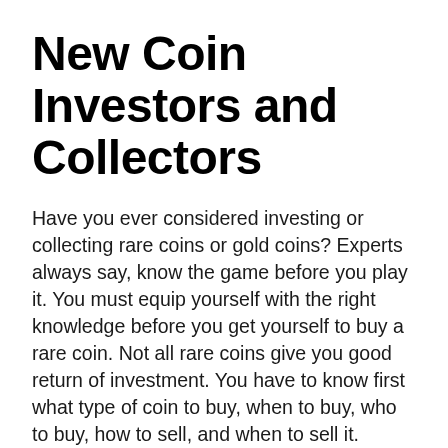New Coin Investors and Collectors
Have you ever considered investing or collecting rare coins or gold coins? Experts always say, know the game before you play it. You must equip yourself with the right knowledge before you get yourself to buy a rare coin. Not all rare coins give you good return of investment. You have to know first what type of coin to buy, when to buy, who to buy, how to sell, and when to sell it.
Don't be carried away cheap rare coins you find online. There are too many scammers these days, and you have to be extra careful or you lose your hard-earned money. Rare coins don't give you ROI right away. It would take many years until you get profit from it. Don't expect you earn from it right away.